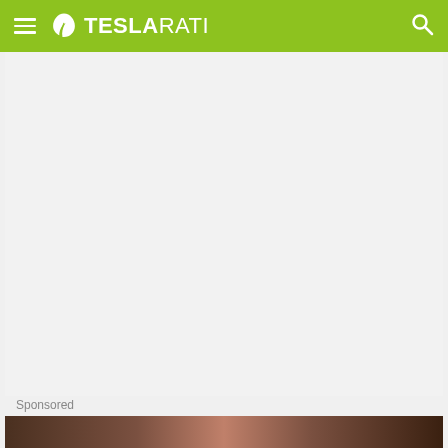TESLARATI
[Figure (other): Large empty light gray content area placeholder]
Sponsored
[Figure (photo): Partial image strip visible at the bottom of the page, dark background with partial view of a person]